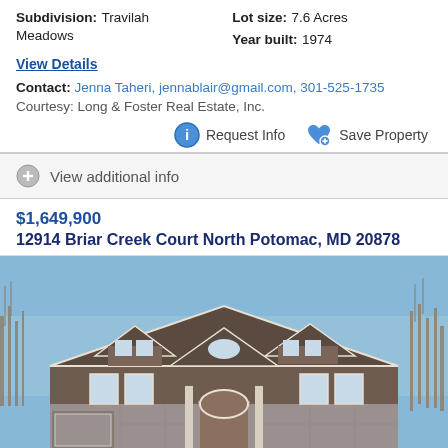Subdivision: Travilah Meadows
Lot size: 7.6 Acres
Year built: 1974
View Details
Contact: Jenna Taheri, jennablair@gmail.com, 301-525-1735
Courtesy: Long & Foster Real Estate, Inc.
Request Info
Save Property
View additional info
$1,649,900
12914 Briar Creek Court North Potomac, MD 20878
[Figure (photo): Exterior photo of a large two-story residential home with dark brown roof, stone and siding facade, multiple gabled dormers, arched front door entry, and bare trees in background under blue sky.]